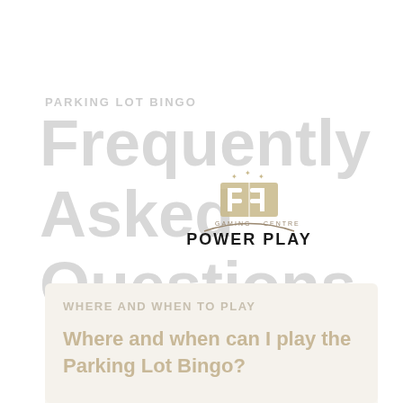PARKING LOT BINGO
Frequently Asked Questions
[Figure (logo): Power Play Gaming Centre logo with stylized PP letters and stars above, curved line below, and POWER PLAY text in bold black]
WHERE AND WHEN TO PLAY
Where and when can I play the Parking Lot Bingo?